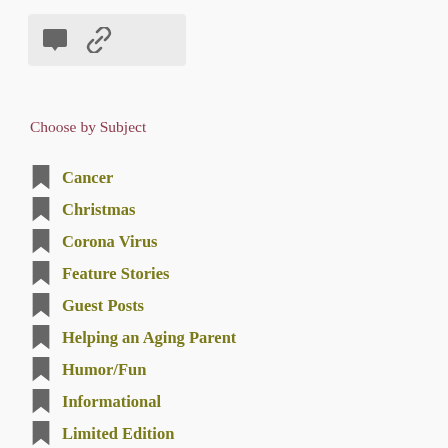[Figure (other): Toolbar with comment/speech bubble icon and chain link icon on a light grey background]
Choose by Subject
Cancer
Christmas
Corona Virus
Feature Stories
Guest Posts
Helping an Aging Parent
Humor/Fun
Informational
Limited Edition
Womens' Conversations